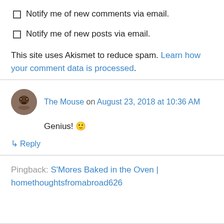Notify me of new comments via email.
Notify me of new posts via email.
This site uses Akismet to reduce spam. Learn how your comment data is processed.
The Mouse on August 23, 2018 at 10:36 AM
Genius! 🙂
↳ Reply
Pingback: S'Mores Baked in the Oven | homethoughtsfromabroad626